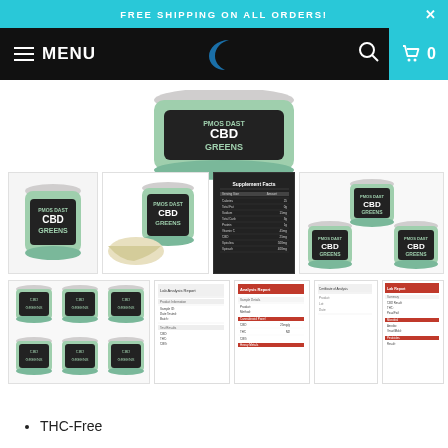FREE SHIPPING ON ALL ORDERS!
[Figure (screenshot): Website navigation bar with hamburger menu icon, MENU text, crescent moon logo, search icon, and cart icon with 0 count on cyan background]
[Figure (photo): Main product image of CBD Greens supplement container, partially visible at top]
[Figure (photo): Gallery of product thumbnails: single container, container with powder on spoon, supplement facts label, three containers stacked, six containers stacked, two lab report documents, one blank document, and another lab report]
THC-Free